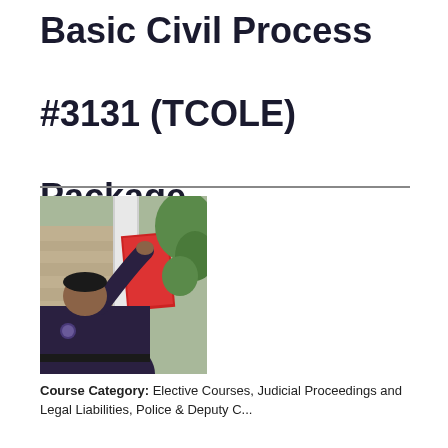Basic Civil Process #3131 (TCOLE) Package
[Figure (photo): Police officer in uniform affixing a red document or notice to a white post or door frame of a building]
Course Category: Elective Courses, Judicial Proceedings and Legal Liabilities, Police & Deputy C...